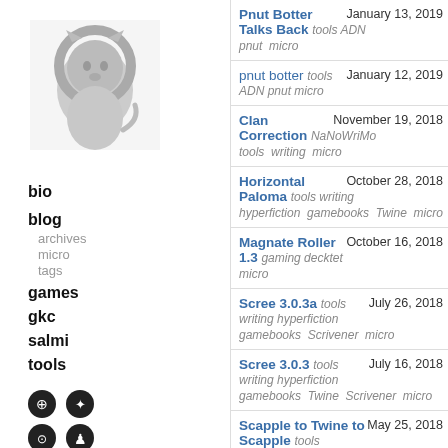[Figure (illustration): Gray lion or animal illustration used as avatar/profile image]
bio
blog
archives
micro
tags
games
gkc
salmi
tools
Pnut Botter Talks Back  tools  ADN  January 13, 2019
pnut  micro
pnut botter  tools  ADN  pnut  micro  January 12, 2019
Clan Correction  NaNoWriMo  November 19, 2018
tools  writing  micro
Horizontal Paloma  tools  writing  October 28, 2018
hyperfiction  gamebooks  Twine  micro
Magnate Roller 1.3  gaming  decktet  October 16, 2018
micro
Scree 3.0.3a  tools  writing  hyperfiction  July 26, 2018
gamebooks  Scrivener  micro
Scree 3.0.3  tools  writing  hyperfiction  July 16, 2018
gamebooks  Twine  Scrivener  micro
Scapple to Twine to Scapple  tools  May 25, 2018
writing  hyperfiction  gamebooks  Twine
Myrmex 1.3.1  gaming  decktet  micro  May 2, 2018
Paloma 1.1.1  tools  writing  hyperfiction  April 29, 2018
gamebooks  Twine  micro
Aucteraden 1.1  gaming  decktet  micro  April 24, 2018